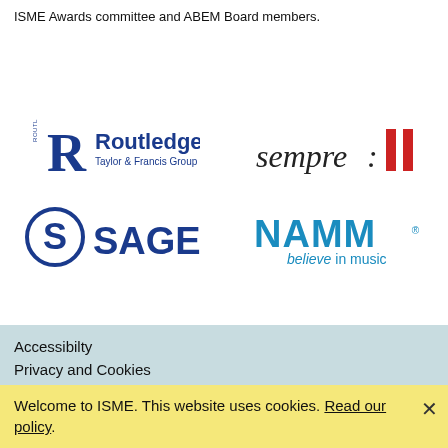ISME Awards committee and ABEM Board members.
[Figure (logo): Routledge Taylor & Francis Group logo]
[Figure (logo): sempre: logo with red vertical bars]
[Figure (logo): SAGE Publications logo]
[Figure (logo): NAMM believe in music logo]
Accessibilty
Privacy and Cookies
Site Map
Terms and Conditions
Welcome to ISME. This website uses cookies. Read our policy.